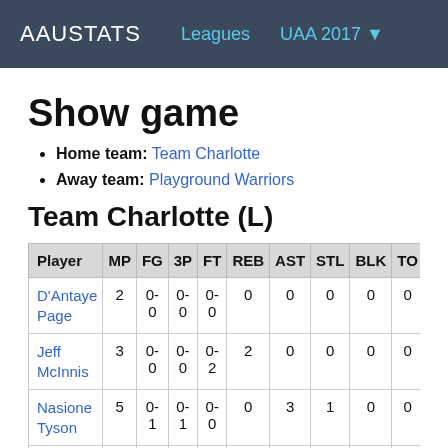AAUSTATS  Leagues  UAA 2017
Show game
Home team: Team Charlotte
Away team: Playground Warriors
Team Charlotte (L)
| Player | MP | FG | 3P | FT | REB | AST | STL | BLK | TO | PF | P |
| --- | --- | --- | --- | --- | --- | --- | --- | --- | --- | --- | --- |
| D'Antaye Page | 2 | 0-0 | 0-0 | 0-0 | 0 | 0 | 0 | 0 | 0 | 0 | 0 |
| Jeff McInnis | 3 | 0-0 | 0-0 | 0-2 | 2 | 0 | 0 | 0 | 0 | 0 | 0 |
| Nasione Tyson | 5 | 0-1 | 0-1 | 0-0 | 0 | 3 | 1 | 0 | 0 | 1 | 0 |